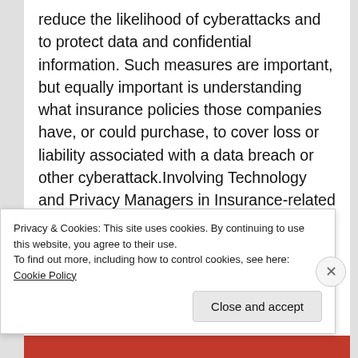reduce the likelihood of cyberattacks and to protect data and confidential information. Such measures are important, but equally important is understanding what insurance policies those companies have, or could purchase, to cover loss or liability associated with a data breach or other cyberattack.Involving Technology and Privacy Managers in Insurance-related Matters Because of the variation in cyberinsurance coverages and the underwriting inquiries that often go along with the purchase of such
Privacy & Cookies: This site uses cookies. By continuing to use this website, you agree to their use.
To find out more, including how to control cookies, see here: Cookie Policy
Close and accept